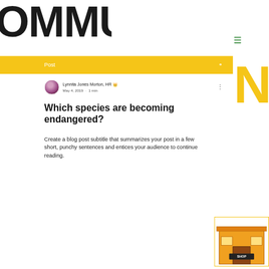OMMUNITY (partial, cropped banner letters)
Post
Lynnita Jones Morton, HR 👑
May 4, 2019 · 1 min
Which species are becoming endangered?
Create a blog post subtitle that summarizes your post in a few short, punchy sentences and entices your audience to continue reading.